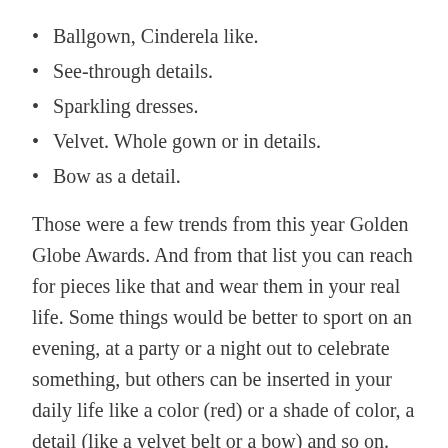Ballgown, Cinderela like.
See-through details.
Sparkling dresses.
Velvet. Whole gown or in details.
Bow as a detail.
Those were a few trends from this year Golden Globe Awards. And from that list you can reach for pieces like that and wear them in your real life. Some things would be better to sport on an evening, at a party or a night out to celebrate something, but others can be inserted in your daily life like a color (red) or a shade of color, a detail (like a velvet belt or a bow) and so on.